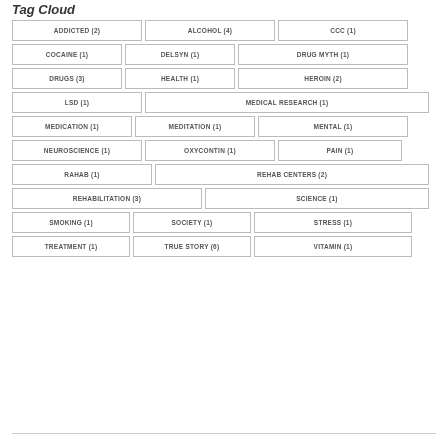Tag Cloud
ADDICTED (2)
ALCOHOL (4)
CCC (1)
COCAINE (1)
DELSYN (1)
DRUG MYTH (1)
DRUGS (3)
HEALTH (1)
HEROIN (2)
LSD (1)
MEDICAL RESEARCH (1)
MEDICATION (1)
MEDITATION (1)
MENTAL (1)
NEUROSCIENCE (1)
OXYCONTIN (1)
PAIN (1)
RAHAB (1)
REHAB CENTERS (2)
REHABILITATION (3)
SCIENCE (1)
SMOKING (1)
SOCIETY (1)
STRESS (1)
TREATMENT (1)
TRUE STORY (6)
VITAMIN (1)